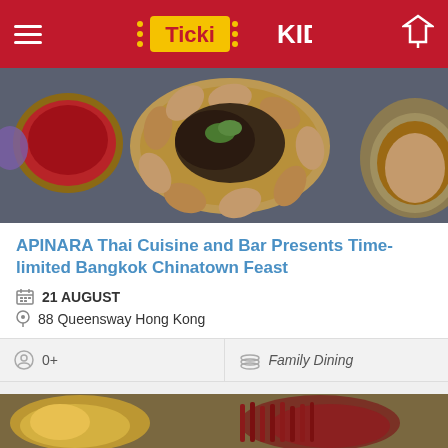TickiKIDS
[Figure (photo): Top-down food photography showing Thai/Chinese dishes including a bowl with abalone/shellfish, a red sauce/soup bowl, and other seafood dishes on a dark stone surface]
APINARA Thai Cuisine and Bar Presents Time-limited Bangkok Chinatown Feast
21 AUGUST
88 Queensway Hong Kong
0+
Family Dining
[Figure (photo): Bottom partial food photo showing yellow/orange food items and red ingredients]
69 Shares